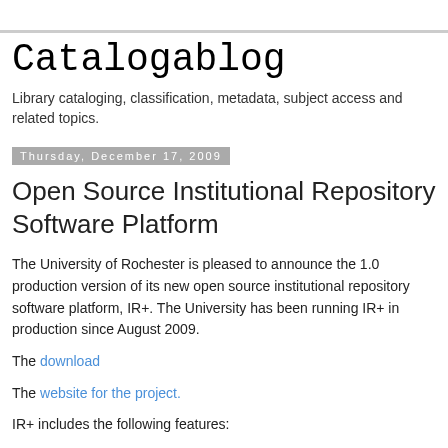Catalogablog
Library cataloging, classification, metadata, subject access and related topics.
Thursday, December 17, 2009
Open Source Institutional Repository Software Platform
The University of Rochester is pleased to announce the 1.0 production version of its new open source institutional repository software platform, IR+. The University has been running IR+ in production since August 2009.
The download
The website for the project.
IR+ includes the following features: